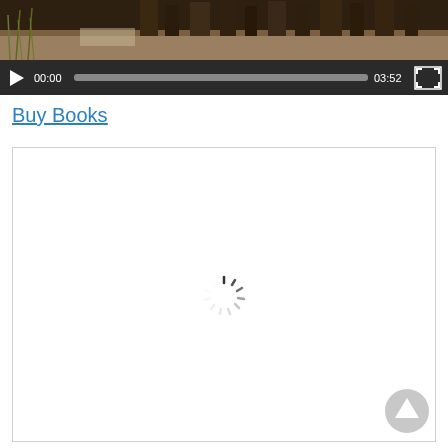[Figure (screenshot): Video player showing a nature scene (grass, rocks, water) with playback controls bar showing play button, timestamp 00:00, progress bar, duration 03:52, and fullscreen button. Below is a 'Buy Books' hyperlink and a bordered content area with a loading spinner and a scroll-to-top button.]